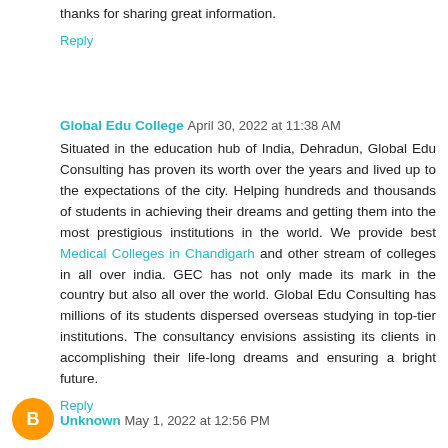thanks for sharing great information.
Reply
Global Edu College  April 30, 2022 at 11:38 AM
Situated in the education hub of India, Dehradun, Global Edu Consulting has proven its worth over the years and lived up to the expectations of the city. Helping hundreds and thousands of students in achieving their dreams and getting them into the most prestigious institutions in the world. We provide best Medical Colleges in Chandigarh and other stream of colleges in all over india. GEC has not only made its mark in the country but also all over the world. Global Edu Consulting has millions of its students dispersed overseas studying in top-tier institutions. The consultancy envisions assisting its clients in accomplishing their life-long dreams and ensuring a bright future.
Reply
Unknown  May 1, 2022 at 12:56 PM